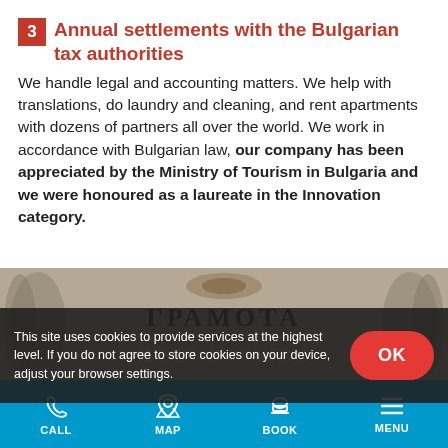3 Annual settlements with the Bulgarian tax authorities
We handle legal and accounting matters. We help with translations, do laundry and cleaning, and rent apartments with dozens of partners all over the world. We work in accordance with Bulgarian law, our company has been appreciated by the Ministry of Tourism in Bulgaria and we were honoured as a laureate in the Innovation category.
[Figure (photo): A decorative certificate or diploma document (Грамота) with ornate border design and Cyrillic text, partially obscured by cookie consent banner.]
This site uses cookies to provide services at the highest level. If you do not agree to store cookies on your device, adjust your browser settings.
CALL  MAP  BOOK  MENU